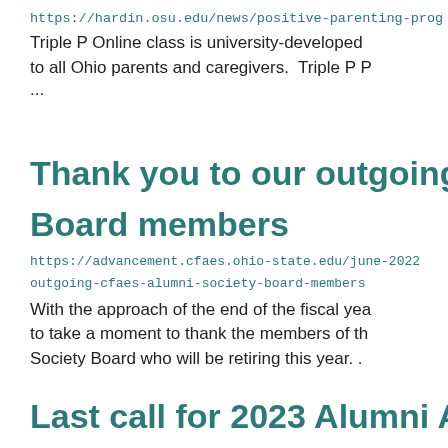https://hardin.osu.edu/news/positive-parenting-prog
Triple P Online class is university-developed to all Ohio parents and caregivers.  Triple P P...
Thank you to our outgoing CFAES Alumni Society Board members
https://advancement.cfaes.ohio-state.edu/june-2022 outgoing-cfaes-alumni-society-board-members
With the approach of the end of the fiscal year, to take a moment to thank the members of the Alumni Society Board who will be retiring this year. . .
Last call for 2023 Alumni Award nom
https://advancement.cfaes.ohio-state.edu/june-202...